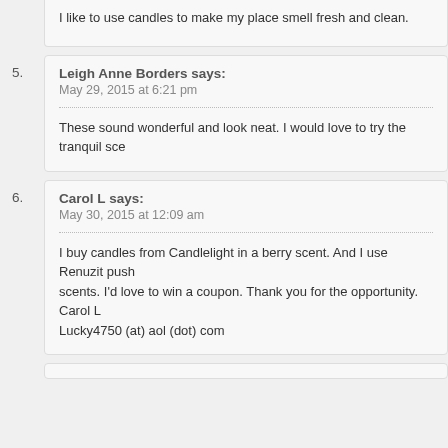I like to use candles to make my place smell fresh and clean.
5. Leigh Anne Borders says: May 29, 2015 at 6:21 pm — These sound wonderful and look neat. I would love to try the tranquil sce...
6. Carol L says: May 30, 2015 at 12:09 am — I buy candles from Candlelight in a berry scent. And I use Renuzit push scents. I'd love to win a coupon. Thank you for the opportunity. Carol L Lucky4750 (at) aol (dot) com